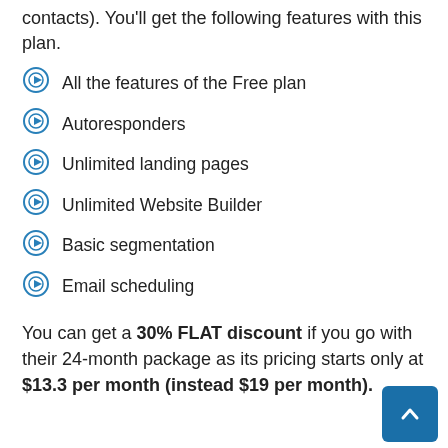contacts). You'll get the following features with this plan.
All the features of the Free plan
Autoresponders
Unlimited landing pages
Unlimited Website Builder
Basic segmentation
Email scheduling
You can get a 30% FLAT discount if you go with their 24-month package as its pricing starts only at $13.3 per month (instead $19 per month).